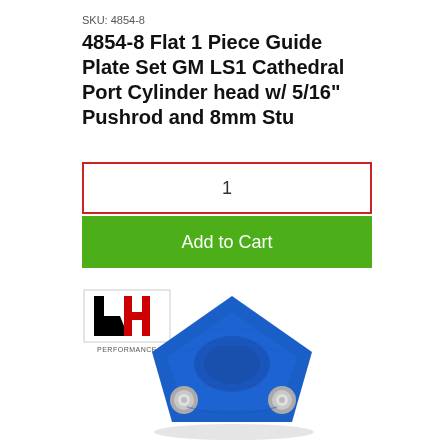SKU: 4854-8
4854-8 Flat 1 Piece Guide Plate Set GM LS1 Cathedral Port Cylinder head w/ 5/16" Pushrod and 8mm Stu
1
Add to Cart
[Figure (logo): RH Performance logo — black R and red H letters on white background with text 'PERFORMANCE' beneath]
[Figure (photo): Blue anodized aluminum flat 1 piece guide plate for GM LS1 cylinder head, with two silver studs visible, diamond-like shape viewed from top]